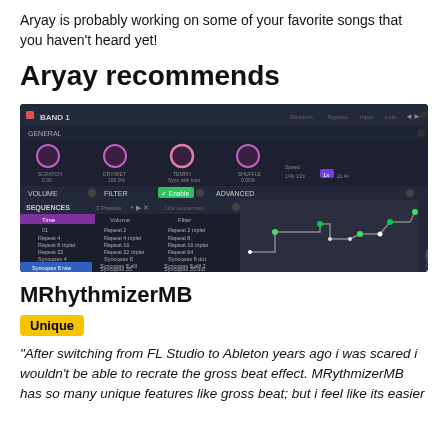Aryay is probably working on some of your favorite songs that you haven't heard yet!
Aryay recommends
[Figure (screenshot): Screenshot of MRhythmizerMB plugin interface showing BAND 1, GENERAL, SCRATCH, DRY/WET, TEMPO, SHUFFLE controls, VOLUME, FILTER, ADVANCED sections, and SEQUENCES panel with Time, Volume, Filter columns listing various sequence options including Syncopas 8 raw highlighted, and a piano-roll style graph on the right.]
MRhythmizerMB
Unique
"After switching from FL Studio to Ableton years ago i was scared i wouldn't be able to recrate the gross beat effect. MRythmizerMB has so many unique features like gross beat; but i feel like its easier